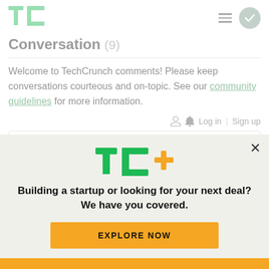TechCrunch logo, hamburger menu, user avatar
Conversation (9)
Welcome to TechCrunch comments! Please keep conversations courteous and on-topic. See our community guidelines for more information.
Log in | Sign up
[Figure (screenshot): TechCrunch TC+ promotional modal overlay with headline 'Building a startup or looking for your next deal? We have you covered.' and an 'EXPLORE NOW' button]